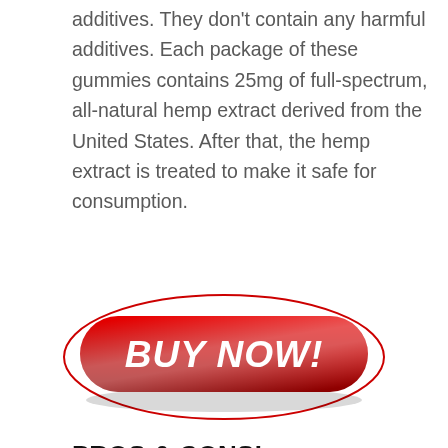additives. They don't contain any harmful additives. Each package of these gummies contains 25mg of full-spectrum, all-natural hemp extract derived from the United States. After that, the hemp extract is treated to make it safe for consumption.
[Figure (other): A red glossy BUY NOW! button with a red ellipse outline around it and a white glare/highlight across the middle]
PROS & CONS!
Pros:
Work quickly to reclaim your health.
Treats chronic pain and pains all over the body.